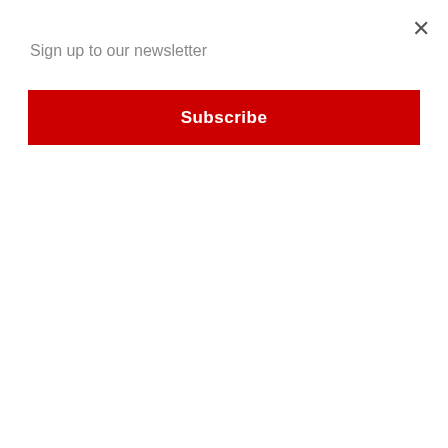Sign up to our newsletter
Subscribe
[Figure (photo): A dark-colored 1965 Lola T70 MKII Spyder race car with number 14 on track]
26.07.2022 Race Cars
1965 LOLA T70 MKII SPYDER Chassis no. SL71/19
Lola's sublimely beautiful T70 spyder sports-racer is historically significant as winner of the firs
£ 99,900